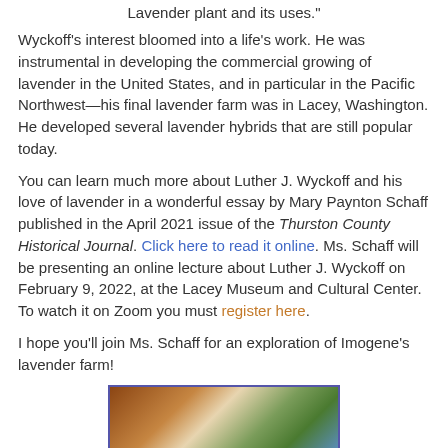Lavender plant and its uses."
Wyckoff's interest bloomed into a life's work. He was instrumental in developing the commercial growing of lavender in the United States, and in particular in the Pacific Northwest—his final lavender farm was in Lacey, Washington. He developed several lavender hybrids that are still popular today.
You can learn much more about Luther J. Wyckoff and his love of lavender in a wonderful essay by Mary Paynton Schaff published in the April 2021 issue of the Thurston County Historical Journal. Click here to read it online. Ms. Schaff will be presenting an online lecture about Luther J. Wyckoff on February 9, 2022, at the Lacey Museum and Cultural Center. To watch it on Zoom you must register here.
I hope you'll join Ms. Schaff for an exploration of Imogene's lavender farm!
[Figure (photo): A colorful painting or artwork depicting lavender farm imagery with warm earth tones, greens, and blue sky.]